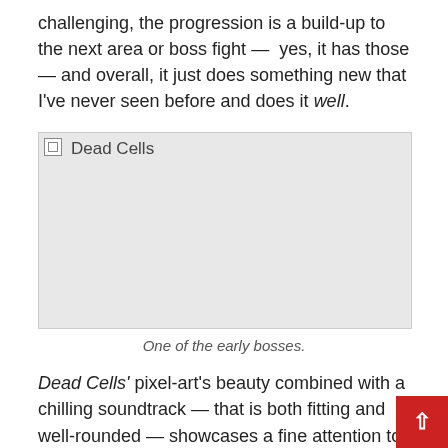challenging, the progression is a build-up to the next area or boss fight —  yes, it has those — and overall, it just does something new that I've never seen before and does it well.
[Figure (photo): A placeholder image box labeled 'Dead Cells' representing a screenshot of one of the early bosses in the game.]
One of the early bosses.
Dead Cells' pixel-art's beauty combined with a chilling soundtrack — that is both fitting and well-rounded — showcases a fine attention to detail and gives a nod